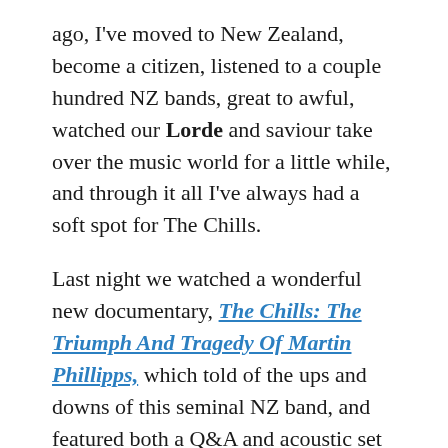ago, I've moved to New Zealand, become a citizen, listened to a couple hundred NZ bands, great to awful, watched our Lorde and saviour take over the music world for a little while, and through it all I've always had a soft spot for The Chills.
Last night we watched a wonderful new documentary, The Chills: The Triumph And Tragedy Of Martin Phillipps, which told of the ups and downs of this seminal NZ band, and featured both a Q&A and acoustic set by Phillipps afterwards. It was a great night, a full house of people who grew up with the Chills since their Dunedin days and those like me who stumbled across them on the other side of the